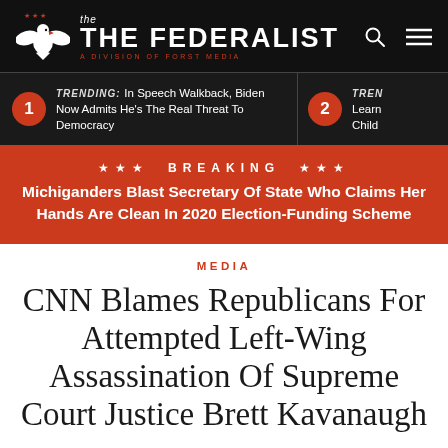the FEDERALIST — A DIVISION OF FORST MEDIA
1 TRENDING: In Speech Walkback, Biden Now Admits He's The Real Threat To Democracy
2 TRENDING: Learn... Child...
*** BREAKING *** Michiganders Blast Secretary Of State Who Claims Her Hands Are Clean In 2020 Election-Funding Scheme
MEDIA
CNN Blames Republicans For Attempted Left-Wing Assassination Of Supreme Court Justice Brett Kavanaugh